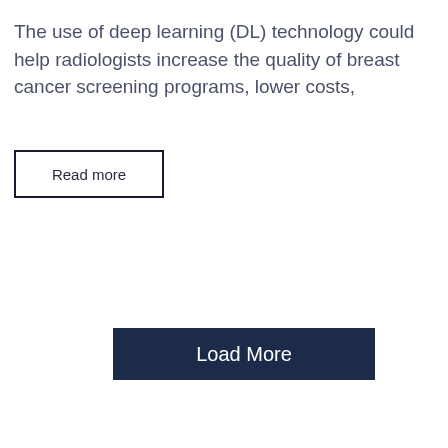The use of deep learning (DL) technology could help radiologists increase the quality of breast cancer screening programs, lower costs,
Read more
Load More